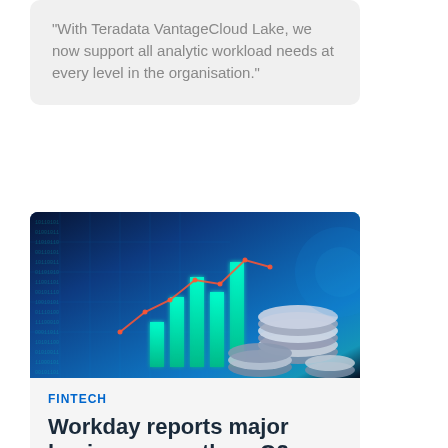"With Teradata VantageCloud Lake, we now support all analytic workload needs at every level in the organisation."
[Figure (photo): Financial technology illustration showing glowing bar charts, line graphs, and stacked coins on a dark blue digital background]
FINTECH
Workday reports major business growth as Q2 2023 financials revealed
The company reported total revenues of $1.54 billion and subscription